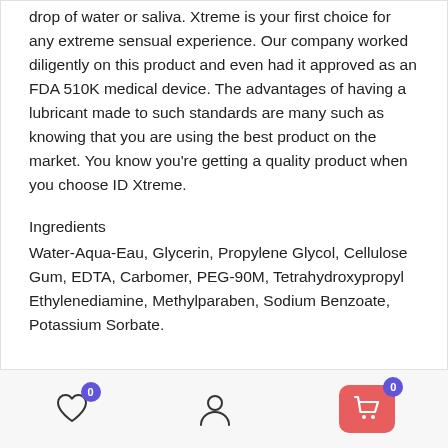drop of water or saliva. Xtreme is your first choice for any extreme sensual experience. Our company worked diligently on this product and even had it approved as an FDA 510K medical device. The advantages of having a lubricant made to such standards are many such as knowing that you are using the best product on the market. You know you're getting a quality product when you choose ID Xtreme.
Ingredients
Water-Aqua-Eau, Glycerin, Propylene Glycol, Cellulose Gum, EDTA, Carbomer, PEG-90M, Tetrahydroxypropyl Ethylenediamine, Methylparaben, Sodium Benzoate, Potassium Sorbate.
Wishlist (0) | Account | Cart (0)